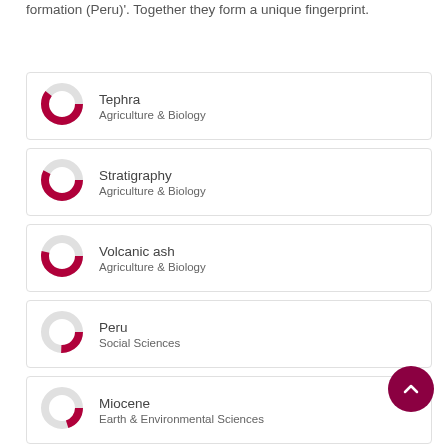formation (Peru)'. Together they form a unique fingerprint.
[Figure (donut-chart): Donut chart showing high fill (~85%) in crimson/dark red. Agriculture & Biology category.]
Tephra
Agriculture & Biology
[Figure (donut-chart): Donut chart showing high fill (~85%) in crimson/dark red. Agriculture & Biology category.]
Stratigraphy
Agriculture & Biology
[Figure (donut-chart): Donut chart showing high fill (~80%) in crimson/dark red. Agriculture & Biology category.]
Volcanic ash
Agriculture & Biology
[Figure (donut-chart): Donut chart showing medium fill (~50%) in crimson/dark red. Social Sciences category.]
Peru
Social Sciences
[Figure (donut-chart): Donut chart showing medium fill (~45%) in crimson/dark red. Earth & Environmental Sciences category.]
Miocene
Earth & Environmental Sciences
[Figure (donut-chart): Donut chart showing lower fill (~35%) in crimson/dark red. Social Sciences category.]
Social stratum
Social Sciences